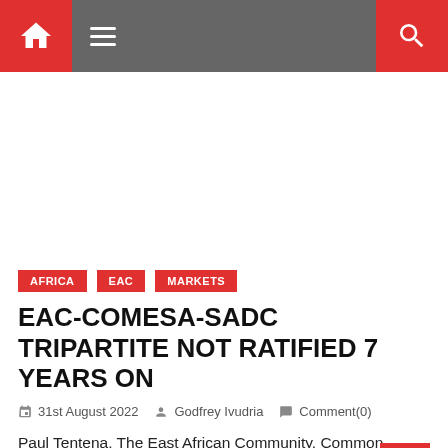Navigation bar with home icon, menu icon, and search icon
[Figure (other): Advertisement / blank white area]
AFRICA
EAC
MARKETS
EAC-COMESA-SADC TRIPARTITE NOT RATIFIED 7 YEARS ON
31st August 2022   Godfrey Ivudria   Comment(0)
Paul Tentena, The East African Community, Common Market for Eastern and Southern Africa and the Southern Africa